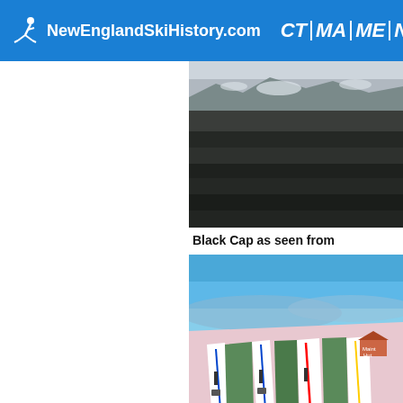NewEnglandSkiHistory.com  CT | MA | ME | NH | RI | VT  Ski
[Figure (photo): Black and white aerial photograph of a forested mountain slope, partially snow-covered at the top]
Black Cap as seen from
[Figure (illustration): Colorful ski trail map illustration showing ski runs, lifts, and mountain hut on a snowy mountain with blue sky background]